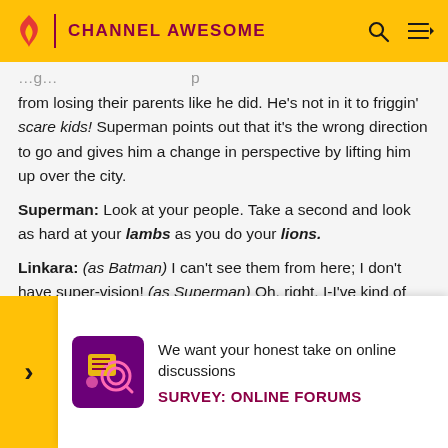CHANNEL AWESOME
from losing their parents like he did. He's not in it to friggin' scare kids! Superman points out that it's the wrong direction to go and gives him a change in perspective by lifting him up over the city.
Superman: Look at your people. Take a second and look as hard at your lambs as you do your lions.
Linkara: (as Batman) I can't see them from here; I don't have super-vision! (as Superman) Oh, right, I-I've kind of forgot about that. Uh... Well, just pretend that you can see them
Linka
[Figure (infographic): Survey popup banner with yellow left bar with right arrow, purple icon with magnifying glass graphic, text 'We want your honest take on online discussions' and bold label 'SURVEY: ONLINE FORUMS' in dark magenta]